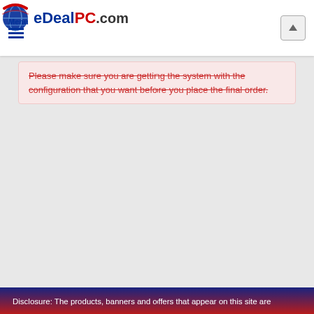Menu | eDealPC.com
Please make sure you are getting the system with the configuration that you want before you place the final order.
Disclosure: The products, banners and offers that appear on this site are